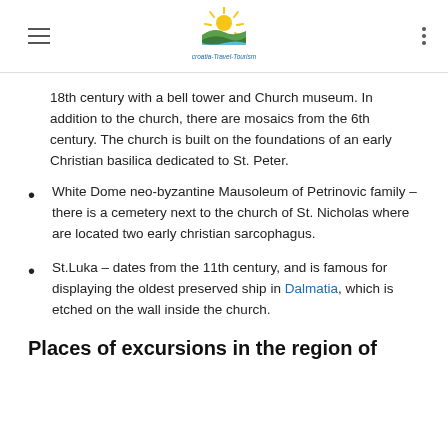croatia-travel-tourism logo
18th century with a bell tower and Church museum. In addition to the church, there are mosaics from the 6th century. The church is built on the foundations of an early Christian basilica dedicated to St. Peter.
White Dome neo-byzantine Mausoleum of Petrinovic family – there is a cemetery next to the church of St. Nicholas where are located two early christian sarcophagus.
St.Luka – dates from the 11th century, and is famous for displaying the oldest preserved ship in Dalmatia, which is etched on the wall inside the church.
Places of excursions in the region of